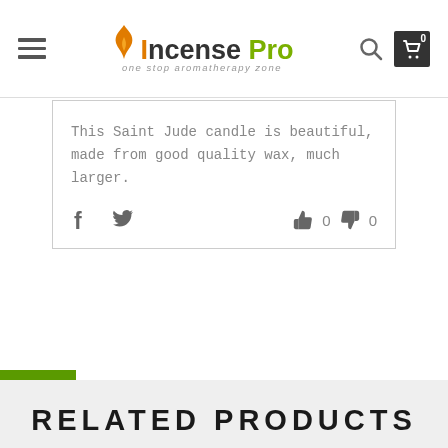[Figure (logo): Incense Pro logo with flame icon and tagline 'one stop aromatherapy zone']
This Saint Jude candle is beautiful, made from good quality wax, much larger.
[Figure (infographic): Social sharing icons (Facebook, Twitter) and vote buttons (thumbs up 0, thumbs down 0)]
[Figure (infographic): Green wishlist heart button]
RELATED PRODUCTS
[Figure (photo): Red product box (related product) partially visible at bottom of page]